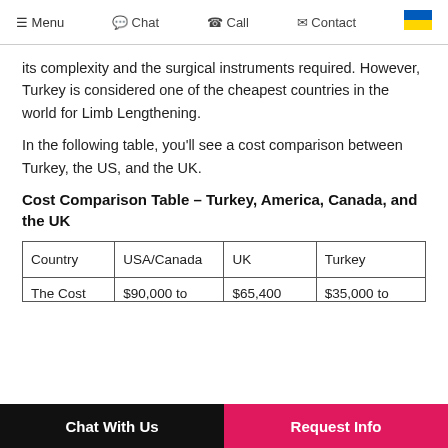Menu  Chat  Call  Contact
its complexity and the surgical instruments required. However, Turkey is considered one of the cheapest countries in the world for Limb Lengthening.
In the following table, you'll see a cost comparison between Turkey, the US, and the UK.
Cost Comparison Table – Turkey, America, Canada, and the UK
| Country | USA/Canada | UK | Turkey |
| --- | --- | --- | --- |
| The Cost | $90,000 to | $65,400 | $35,000 to |
Chat With Us   Request Info